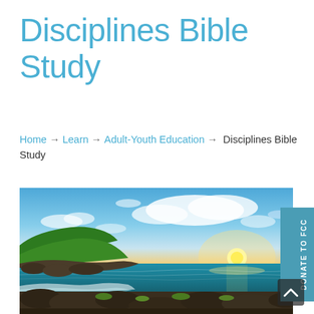Disciplines Bible Study
Home → Learn → Adult-Youth Education → Disciplines Bible Study
[Figure (photo): Coastal landscape at sunset with rocky shoreline, turquoise ocean waves, green hillside, and dramatic cloudy sky with sun on the horizon]